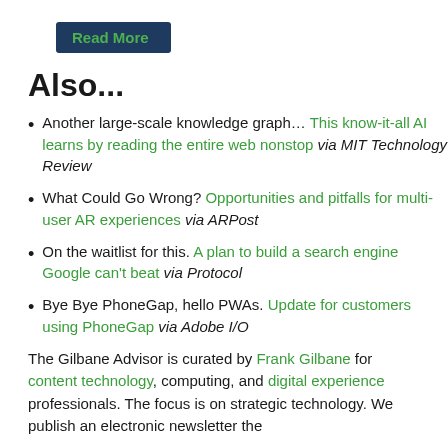Read More
Also...
Another large-scale knowledge graph... This know-it-all AI learns by reading the entire web nonstop via MIT Technology Review
What Could Go Wrong? Opportunities and pitfalls for multi-user AR experiences via ARPost
On the waitlist for this. A plan to build a search engine Google can't beat via Protocol
Bye Bye PhoneGap, hello PWAs. Update for customers using PhoneGap via Adobe I/O
The Gilbane Advisor is curated by Frank Gilbane for content technology, computing, and digital experience professionals. The focus is on strategic technology...